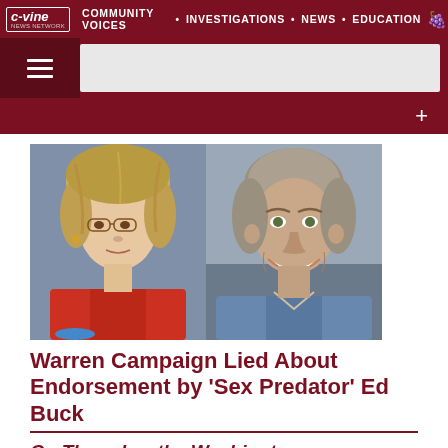c-vine COMMUNITY VOICES • INVESTIGATIONS • NEWS • EDUCATION
[Figure (photo): Two side-by-side photos: left shows a blonde woman with glasses in a red jacket (Elizabeth Warren), right shows a smiling man with gray-brown hair in a denim shirt (Ed Buck)]
Warren Campaign Lied About Endorsement by 'Sex Predator' Ed Buck
On Thursday, the Washington Examiner reported that that one of the